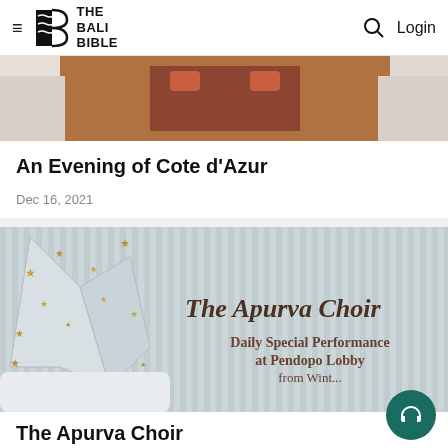THE BALI BIBLE — Login
[Figure (photo): Cropped photo of a Balinese cultural performance or scene — partial view of a figure in traditional attire with reddish/brown tones]
An Evening of Cote d'Azur
Dec 16, 2021
[Figure (photo): Promotional image for The Apurva Choir featuring a decorative star lantern with gold stars on a light blue/grey striped background, with text: 'The Apurva Choir — Daily Special Performance at Pendopo Lobby...']
The Apurva Choir